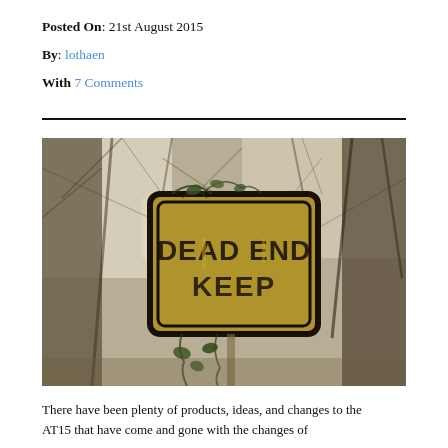Posted On: 21st August 2015
By: lothaen
With 7 Comments
[Figure (photo): A weathered yellow 'DEAD END KEEP' sign overgrown with vines and branches, surrounded by bare winter trees in a muted, desaturated photo.]
There have been plenty of products, ideas, and changes to the AT15 that have come and gone with the changes of